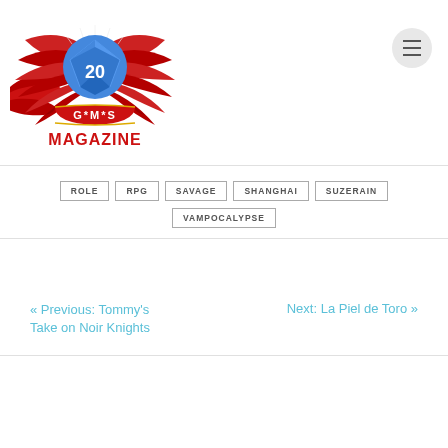[Figure (logo): GMS Magazine logo with red wings, blue d20 dice, and red banner reading G*M*S MAGAZINE]
ROLE
RPG
SAVAGE
SHANGHAI
SUZERAIN
VAMPOCALYPSE
« Previous: Tommy's Take on Noir Knights
Next: La Piel de Toro »